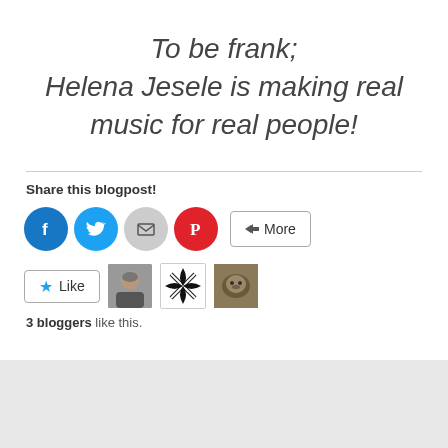To be frank; Helena Jesele is making real music for real people!
Share this blogpost!
[Figure (infographic): Social share buttons: Facebook (blue circle), Twitter (cyan circle), Email (grey circle), Pinterest (red circle), More button]
[Figure (infographic): Like button with star icon, and three blogger avatar thumbnails]
3 bloggers like this.